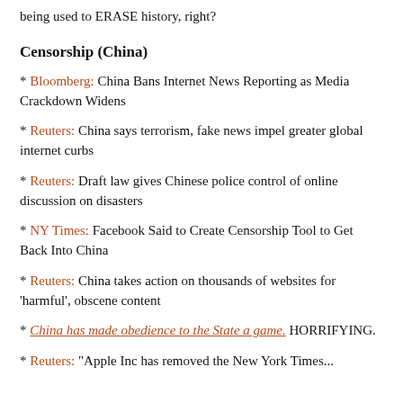being used to ERASE history, right?
Censorship (China)
Bloomberg: China Bans Internet News Reporting as Media Crackdown Widens
Reuters: China says terrorism, fake news impel greater global internet curbs
Reuters: Draft law gives Chinese police control of online discussion on disasters
NY Times: Facebook Said to Create Censorship Tool to Get Back Into China
Reuters: China takes action on thousands of websites for 'harmful', obscene content
China has made obedience to the State a game. HORRIFYING.
Reuters: "Apple Inc has removed the New York Times..."